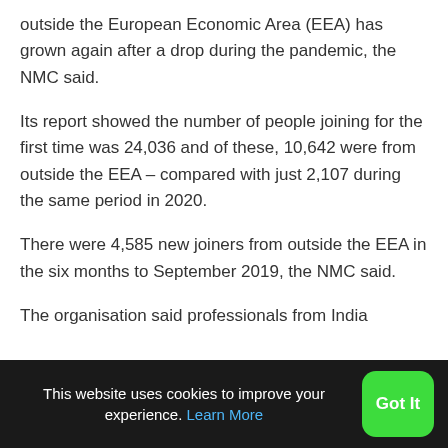outside the European Economic Area (EEA) has grown again after a drop during the pandemic, the NMC said.
Its report showed the number of people joining for the first time was 24,036 and of these, 10,642 were from outside the EEA – compared with just 2,107 during the same period in 2020.
There were 4,585 new joiners from outside the EEA in the six months to September 2019, the NMC said.
The organisation said professionals from India
This website uses cookies to improve your experience. Learn More